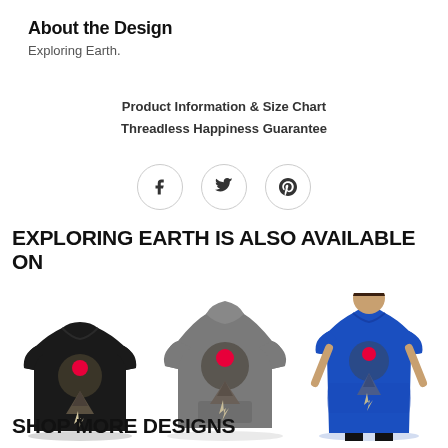About the Design
Exploring Earth.
Product Information & Size Chart
Threadless Happiness Guarantee
[Figure (infographic): Social share buttons: Facebook, Twitter, Pinterest icons in circles]
EXPLORING EARTH IS ALSO AVAILABLE ON
[Figure (photo): Three product photos: black t-shirt with design, gray hoodie with design on back, blue women's t-shirt with design]
SHOP MORE DESIGNS